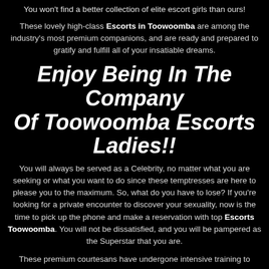You won't find a better collection of elite escort girls than ours!
These lovely high-class Escorts in Toowoomba are among the industry's most premium companions, and are ready and prepared to gratify and fulfill all of your insatiable dreams.
Enjoy Being In The Company Of Toowoomba Escorts Ladies!!
You will always be served as a Celebrity, no matter what you are seeking or what you want to do since these temptresses are here to please you to the maximum. So, what do you have to lose? If you're looking for a private encounter to discover your sexuality, now is the time to pick up the phone and make a reservation with top Escorts Toowoomba. You will not be dissatisfied, and you will be pampered as the Superstar that you are.
These premium courtesans have undergone intensive training to guarantee that they are knowledgeable and deliver the finest possible service. To ensure everything safe and protected, Female Escorts listed on Toowoomba Escorts Agency are health-conscious and undergo regular medical exams. So hire these fantastic Adult